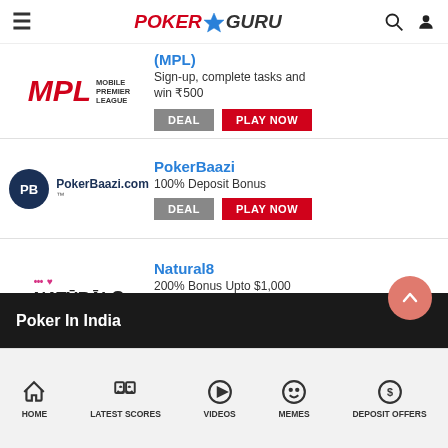PokerGuru
[Figure (logo): MPL (Mobile Premier League) logo with red bold text]
(MPL)
Sign-up, complete tasks and win ₹500
[Figure (logo): PokerBaazi.com logo with dark blue circle and text]
PokerBaazi
100% Deposit Bonus
[Figure (logo): Natural8 logo in black stylized text]
Natural8
200% Bonus Upto $1,000
Poker In India
HOME | LATEST SCORES | VIDEOS | MEMES | DEPOSIT OFFERS